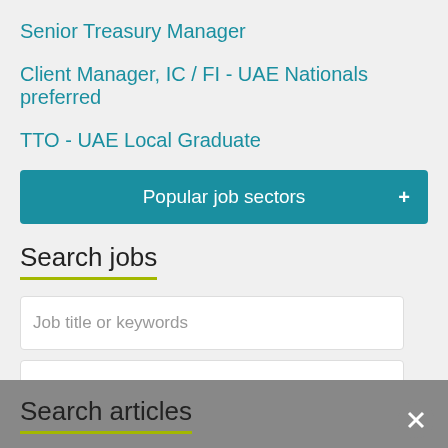Senior Treasury Manager
Client Manager, IC / FI - UAE Nationals preferred
TTO - UAE Local Graduate
Popular job sectors
Search jobs
Job title or keywords
Location
Search jobs
Search articles